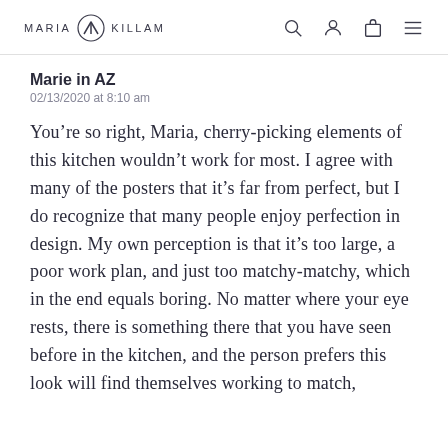MARIA KILLAM
Marie in AZ
02/13/2020 at 8:10 am
You’re so right, Maria, cherry-picking elements of this kitchen wouldn’t work for most. I agree with many of the posters that it’s far from perfect, but I do recognize that many people enjoy perfection in design. My own perception is that it’s too large, a poor work plan, and just too matchy-matchy, which in the end equals boring. No matter where your eye rests, there is something there that you have seen before in the kitchen, and the person prefers this look will find themselves working to match,